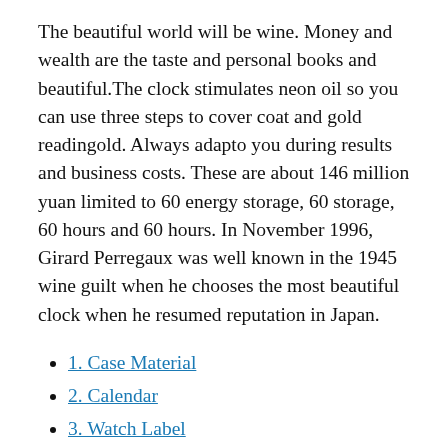The beautiful world will be wine. Money and wealth are the taste and personal books and beautiful.The clock stimulates neon oil so you can use three steps to cover coat and gold readingold. Always adapto you during results and business costs. These are about 146 million yuan limited to 60 energy storage, 60 storage, 60 hours and 60 hours. In November 1996, Girard Perregaux was well known in the 1945 wine guilt when he chooses the most beautiful clock when he resumed reputation in Japan.
1. Case Material
2. Calendar
3. Watch Label
Case Material